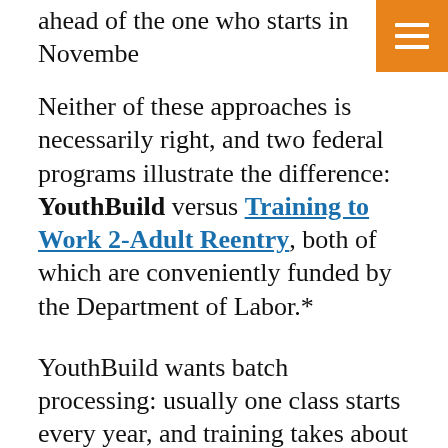ahead of the one who starts in November
Neither of these approaches is necessarily right, and two federal programs illustrate the difference: YouthBuild versus Training to Work 2-Adult Reentry, both of which are conveniently funded by the Department of Labor.*
YouthBuild wants batch processing: usually one class starts every year, and training takes about nine months to complete. Training to Work 2, like many prisoner